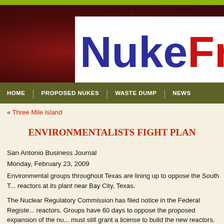[Figure (screenshot): Website header with dark red/brown background with vine pattern, white logo box showing 'NukeFr' in blue and red bold text (cropped)]
HOME | PROPOSED NUKES | WASTE DUMP | NEWS
« Three Mile Island
ENVIRONMENTALISTS FIGHT PLAN
San Antonio Business Journal
Monday, February 23, 2009
Environmental groups throughout Texas are lining up to oppose the South T... reactors at its plant near Bay City, Texas.
The Nuclear Regulatory Commission has filed notice in the Federal Registe... reactors. Groups have 60 days to oppose the proposed expansion of the nu... must still grant a license to build the new reactors.
Environmental groups planning to formally oppose the project include the n... Responsible Energy (STARE), the Sustainable Energy and Economic Deve...
The South Texas Nuclear Operating Co. is owned by NRG Texas LLC (44 p...